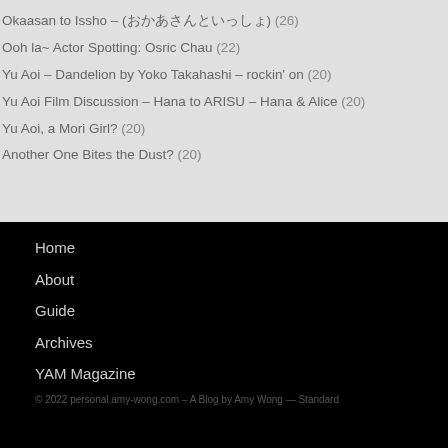Okaasan to Issho – (おかあさんといっしょ) (26)
Ooh la~ Actor Spotting: Osric Chau (22)
Yu Aoi – Dandelion by Yoko Takahashi – rockin' on (20)
Yu Aoi Film Discussion – Hana to ARISU – Hana & Alice (20)
Yu Aoi, a Mori Girl? (20)
Another One Bites the Dust? (20)
Home
About
Guide
Archives
YAM Magazine
© 2022 personal.amy-wong.com – A Blog by Amy Wong — Standard